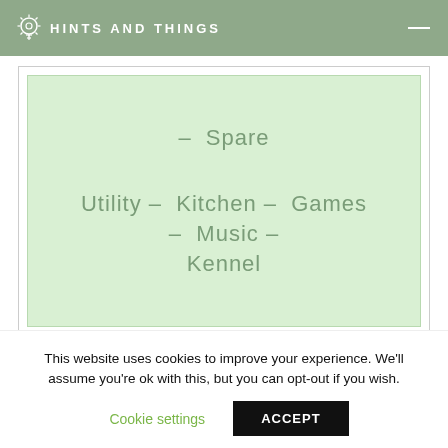HINTS AND THINGS
[Figure (infographic): Green box with navigation room links: Spare, Utility, Kitchen, Games, Music, Kennel]
Related Posts
This website uses cookies to improve your experience. We'll assume you're ok with this, but you can opt-out if you wish.
Cookie settings   ACCEPT